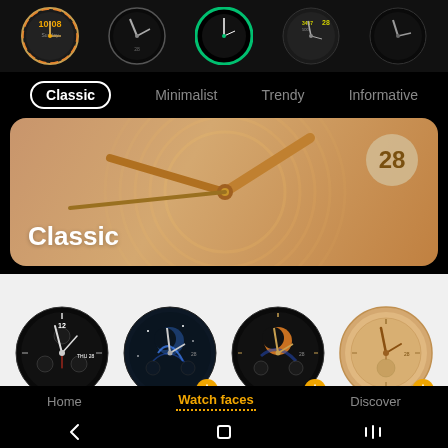[Figure (screenshot): Top strip showing 5 circular watch face thumbnails on black background]
Classic | Minimalist | Trendy | Informative
[Figure (screenshot): Classic watch face banner showing gold analog clock face with large hands and number 28]
[Figure (screenshot): Grid of four watch face options: chronograph black, moon phase blue, moon phase gold, and classic rose gold. Three have download badges.]
Home | Watch faces | Discover
[Figure (screenshot): Android navigation bar with back, home, and recents buttons]